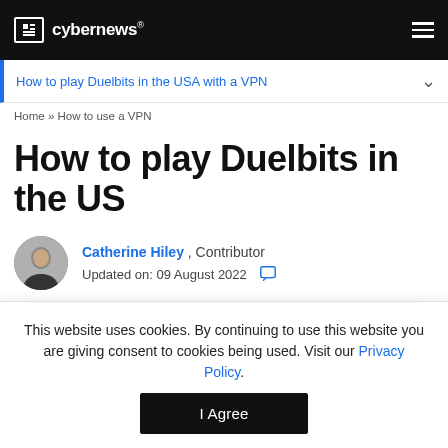cybernews®
How to play Duelbits in the USA with a VPN
Home » How to use a VPN
How to play Duelbits in the US
Catherine Hiley, Contributor
Updated on: 09 August 2022
This website uses cookies. By continuing to use this website you are giving consent to cookies being used. Visit our Privacy Policy.
I Agree